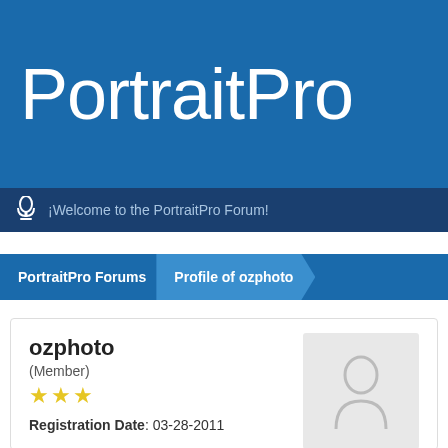PortraitPro
¡Welcome to the PortraitPro Forum!
PortraitPro Forums  Profile of ozphoto
ozphoto
(Member)
★★★
Registration Date: 03-28-2011